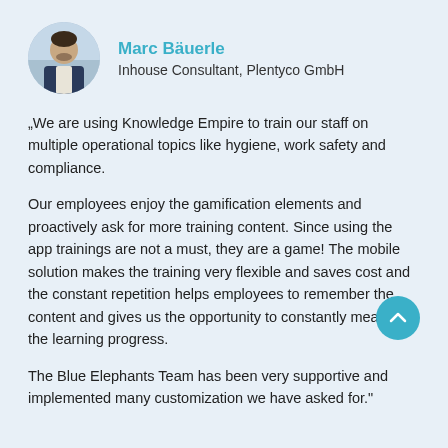[Figure (photo): Circular profile photo of Marc Bäuerle, a man in a dark suit]
Marc Bäuerle
Inhouse Consultant, Plentyco GmbH
„We are using Knowledge Empire to train our staff on multiple operational topics like hygiene, work safety and compliance.
Our employees enjoy the gamification elements and proactively ask for more training content. Since using the app trainings are not a must, they are a game! The mobile solution makes the training very flexible and saves cost and the constant repetition helps employees to remember the content and gives us the opportunity to constantly measure the learning progress.
The Blue Elephants Team has been very supportive and implemented many customization we have asked for."